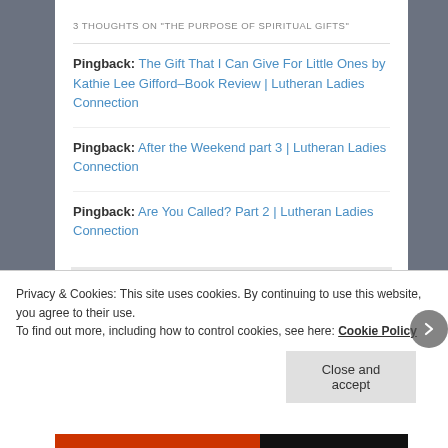3 THOUGHTS ON "THE PURPOSE OF SPIRITUAL GIFTS"
Pingback: The Gift That I Can Give For Little Ones by Kathie Lee Gifford–Book Review | Lutheran Ladies Connection
Pingback: After the Weekend part 3 | Lutheran Ladies Connection
Pingback: Are You Called? Part 2 | Lutheran Ladies Connection
Privacy & Cookies: This site uses cookies. By continuing to use this website, you agree to their use.
To find out more, including how to control cookies, see here: Cookie Policy
Close and accept